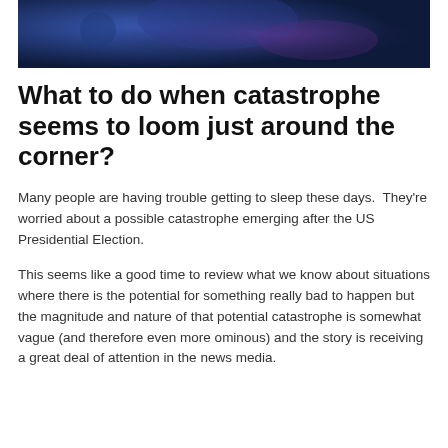[Figure (photo): Dark blue and purple toned hero image at the top of the article, abstract or night scene]
What to do when catastrophe seems to loom just around the corner?
Many people are having trouble getting to sleep these days.  They're worried about a possible catastrophe emerging after the US Presidential Election.
This seems like a good time to review what we know about situations where there is the potential for something really bad to happen but the magnitude and nature of that potential catastrophe is somewhat vague (and therefore even more ominous) and the story is receiving a great deal of attention in the news media.